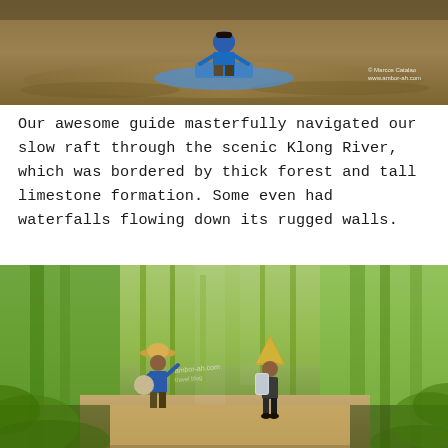[Figure (photo): A person in a blue shirt sitting on a slow raft on a brown river, navigating the Klong River. Watermark: © Marcos Catalao www.ambor-ah.com]
Our awesome guide masterfully navigated our slow raft through the scenic Klong River, which was bordered by thick forest and tall limestone formation. Some even had waterfalls flowing down its rugged walls.
[Figure (photo): Two people walking along a dirt path through lush green bamboo forest. One wears a straw hat and blue outfit, the other wears a conical hat and carries a large bag. Watermark visible: ambor-ah.com travel blog.]